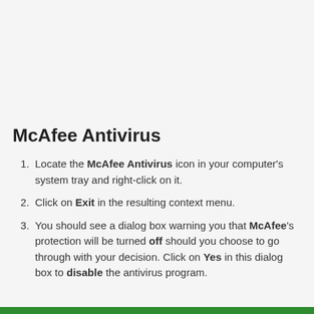McAfee Antivirus
Locate the McAfee Antivirus icon in your computer's system tray and right-click on it.
Click on Exit in the resulting context menu.
You should see a dialog box warning you that McAfee's protection will be turned off should you choose to go through with your decision. Click on Yes in this dialog box to disable the antivirus program.